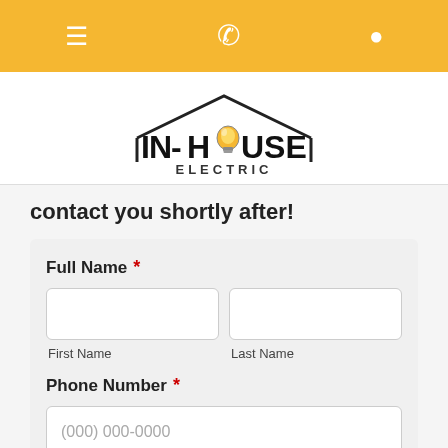Navigation bar with menu, phone, and location icons
[Figure (logo): In-House Electric logo with house roofline and light bulb replacing the O in HOUSE]
contact you shortly after!
Full Name *
First Name
Last Name
Phone Number *
(000) 000-0000